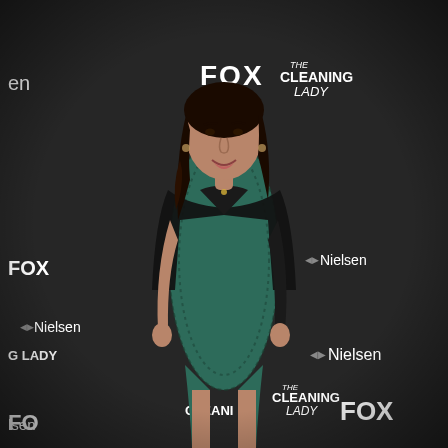[Figure (photo): A woman stands in front of a dark branded step-and-repeat backdrop featuring FOX, The Cleaning Lady, and Nielsen logos. She is wearing a teal/green form-fitting patterned dress with a black leather jacket. She has long dark wavy hair and is smiling at the camera.]